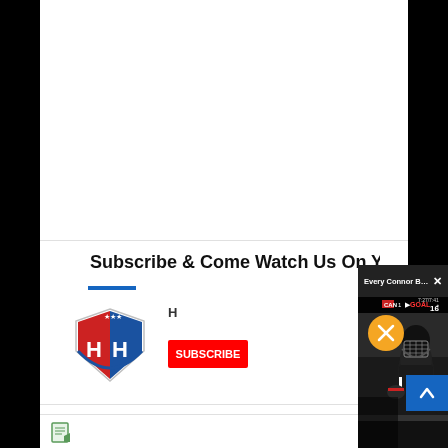[Figure (other): Large white advertisement/content space at top of page]
Subscribe & Come Watch Us On Youtube!
[Figure (logo): Hockey Hub logo - shield shape with HH letters in red and blue]
[Figure (screenshot): Video popup overlay showing 'Every Connor Bedard Point from Summ...' with a hockey player (Connor Bedard) in Team Canada jersey, goal banner visible, mute button, and X close button]
[Figure (other): Small document/page icon at bottom left]
[Figure (other): Blue scroll-to-top button with upward arrow on right side]